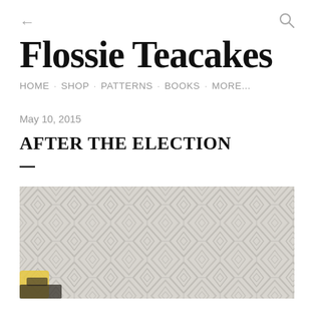← (back) | Q (search)
Flossie Teacakes
HOME · SHOP · PATTERNS · BOOKS · MORE...
May 10, 2015
AFTER THE ELECTION
[Figure (photo): Close-up photo of a grey knitted fabric with a diamond/geometric cable pattern, with yellow gloves and a dark sewing machine visible at the bottom left corner]